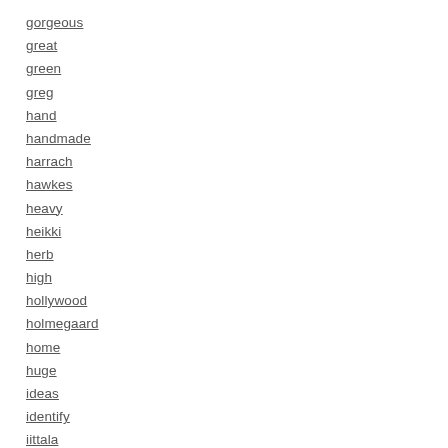gorgeous
great
green
greg
hand
handmade
harrach
hawkes
heavy
heikki
herb
high
hollywood
holmegaard
home
huge
ideas
identify
iittala